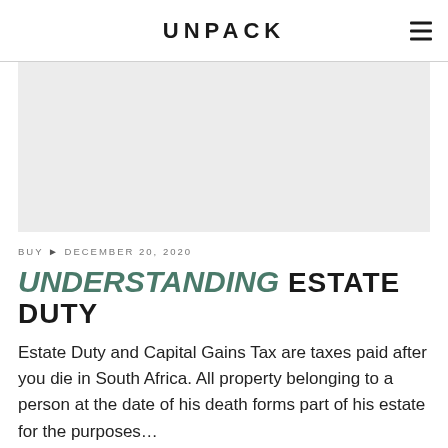UNPACK
[Figure (photo): Large rectangular image placeholder, light grey, representing an article header image about estate duty]
BUY ► DECEMBER 20, 2020
UNDERSTANDING ESTATE DUTY
Estate Duty and Capital Gains Tax are taxes paid after you die in South Africa. All property belonging to a person at the date of his death forms part of his estate for the purposes…